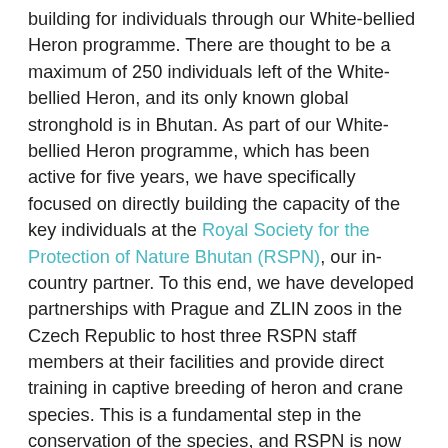building for individuals through our White-bellied Heron programme. There are thought to be a maximum of 250 individuals left of the White-bellied Heron, and its only known global stronghold is in Bhutan. As part of our White-bellied Heron programme, which has been active for five years, we have specifically focused on directly building the capacity of the key individuals at the Royal Society for the Protection of Nature Bhutan (RSPN), our in-country partner. To this end, we have developed partnerships with Prague and ZLIN zoos in the Czech Republic to host three RSPN staff members at their facilities and provide direct training in captive breeding of heron and crane species. This is a fundamental step in the conservation of the species, and RSPN is now in the process of building the world's first White-bellied Heron captive breeding centre. We have also part-funded another RSPN staff member, Indra Acharja, to study for a Master's degree in Forest Science from Yale University. Indra graduated earlier this year and is now back in Bhutan